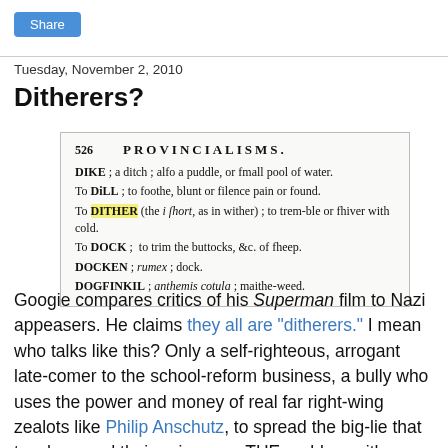Share
Tuesday, November 2, 2010
Ditherers?
[Figure (other): Scanned dictionary page excerpt showing entries: DIKE; a ditch; also a puddle, or small pool of water. To DiLL; to soothe, blunt or silence pain or sound. To DITHER (the i short, as in wither); to tremble or shiver with cold. To DOCK; to trim the buttocks, &c. of sheep. DOCKEN; rumex; dock. DOGFINKIL; anthemis cotula; maithe-weed. Page number 526, heading PROVINCIALISMS.]
Googie compares critics of his Superman film to Nazi appeasers. He claims they all are "ditherers." I mean who talks like this? Only a self-righteous, arrogant late-comer to the school-reform business, a bully who uses the power and money of real far right-wing zealots like Philip Anschutz, to spread the big-lie that teachers and their unions are THE problem with public schools.